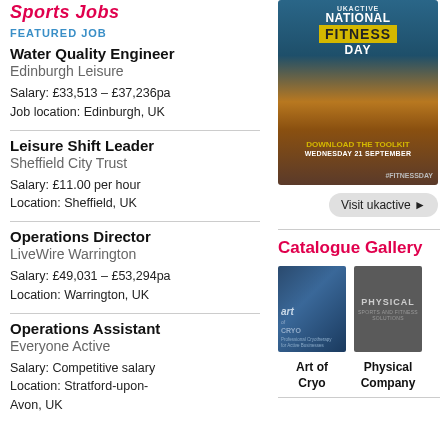Sports Jobs
FEATURED JOB
Water Quality Engineer
Edinburgh Leisure
Salary: £33,513 – £37,236pa
Job location: Edinburgh, UK
Leisure Shift Leader
Sheffield City Trust
Salary: £11.00 per hour
Location: Sheffield, UK
Operations Director
LiveWire Warrington
Salary: £49,031 – £53,294pa
Location: Warrington, UK
Operations Assistant
Everyone Active
Salary: Competitive salary
Location: Stratford-upon-Avon, UK
[Figure (photo): National Fitness Day advertisement showing two women exercising. Text: NATIONAL FITNESS DAY, DOWNLOAD THE TOOLKIT, WEDNESDAY 21 SEPTEMBER, #FITNESSDAY]
Visit ukactive ▶
Catalogue Gallery
[Figure (photo): Art of Cryo catalogue thumbnail - blue cover]
[Figure (photo): Physical Company catalogue thumbnail - gray cover]
Art of Cryo
Physical Company